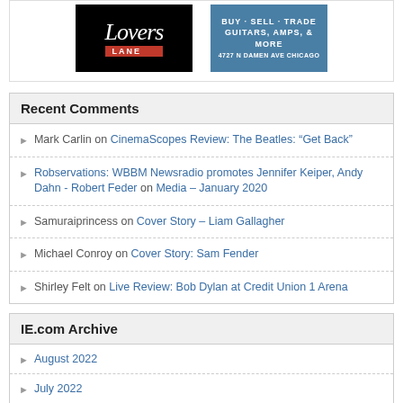[Figure (logo): Lover's Lane logo on black background with red bar]
[Figure (illustration): Buy Sell Trade Guitars Amps & More, 4727 N Damen Ave Chicago on blue background]
Recent Comments
Mark Carlin on CinemaScopes Review: The Beatles: “Get Back”
Robservations: WBBM Newsradio promotes Jennifer Keiper, Andy Dahn - Robert Feder on Media – January 2020
Samuraiprincess on Cover Story – Liam Gallagher
Michael Conroy on Cover Story: Sam Fender
Shirley Felt on Live Review: Bob Dylan at Credit Union 1 Arena
IE.com Archive
August 2022
July 2022
June 2022